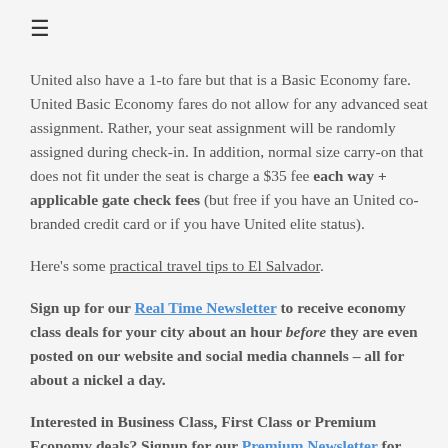≡
United also have a 1-to fare but that is a Basic Economy fare. United Basic Economy fares do not allow for any advanced seat assignment. Rather, your seat assignment will be randomly assigned during check-in. In addition, normal size carry-on that does not fit under the seat is charge a $35 fee each way + applicable gate check fees (but free if you have an United co-branded credit card or if you have United elite status).
Here's some practical travel tips to El Salvador.
Sign up for our Real Time Newsletter to receive economy class deals for your city about an hour before they are even posted on our website and social media channels – all for about a nickel a day.
Interested in Business Class, First Class or Premium Economy deals? Signup for our Premium Newsletter for